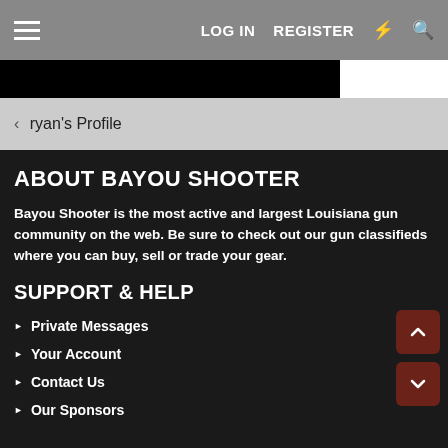LOG IN   REGISTER
[Figure (screenshot): Black banner image area for website header]
< ryan's Profile
ABOUT BAYOU SHOOTER
Bayou Shooter is the most active and largest Louisiana gun community on the web. Be sure to check out our gun classifieds where you can buy, sell or trade your gear.
SUPPORT & HELP
Private Messages
Your Account
Contact Us
Our Sponsors